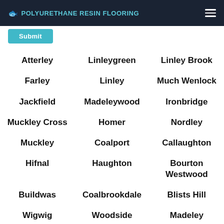POLYURETHANE RESIN FLOORING
Submit
Atterley
Linleygreen
Linley Brook
Farley
Linley
Much Wenlock
Jackfield
Madeleywood
Ironbridge
Muckley Cross
Homer
Nordley
Muckley
Coalport
Callaughton
Hifnal
Haughton
Bourton Westwood
Buildwas
Coalbrookdale
Blists Hill
Wigwig
Woodside
Madeley